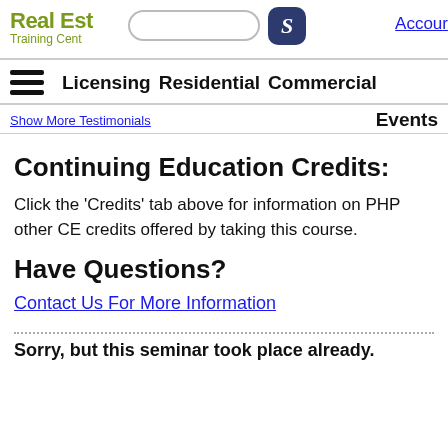Real Estate Training Center
Licensing  Residential  Commercial
Events
Continuing Education Credits:
Click the 'Credits' tab above for information on PHP other CE credits offered by taking this course.
Have Questions?
Contact Us For More Information
Sorry, but this seminar took place already.